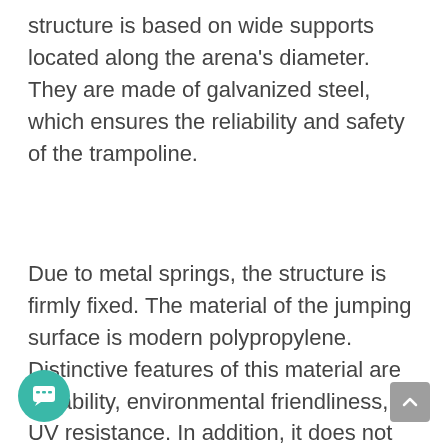structure is based on wide supports located along the arena's diameter. They are made of galvanized steel, which ensures the reliability and safety of the trampoline.
Due to metal springs, the structure is firmly fixed. The material of the jumping surface is modern polypropylene. Distinctive features of this material are durability, environmental friendliness, UV resistance. In addition, it does not retain water and dries very quickly after rain, which makes it possible to install the